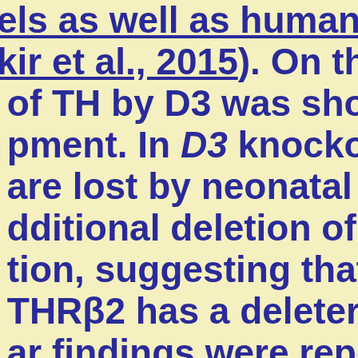els as well as human (Glaschke et al., 2015). On the other hand, inactivation of TH by D3 was shown crucial for cone development. In D3 knockout mice, about 90% cones are lost by neonatal cell death (Ng et al.,). Additional deletion of Thrβ2 leads to cone preservation, suggesting that excessive TH signaling via THRβ2 has a deleterious effect on cones. Similar findings were reported in mouse and rat models of retinal dystrophy where TH reduction (Ma et al., 2014) and D2 inhibition (Shi et al., 2016) have a protective function on photoreceptors, while hyperthyroidism leads to cone degeneration (Ma et al., 2014). Moreover, in a retrospective study, high serum levels of the thyroid hormone T4 positively correlated with a higher prevalence for age-related macular degeneration, while elevated T3 had no impact (Liu et al., 2015). The underlying mechanism